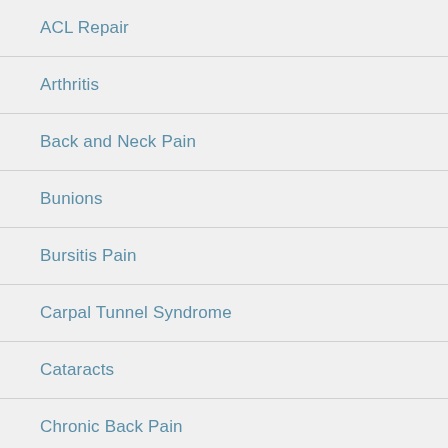ACL Repair
Arthritis
Back and Neck Pain
Bunions
Bursitis Pain
Carpal Tunnel Syndrome
Cataracts
Chronic Back Pain